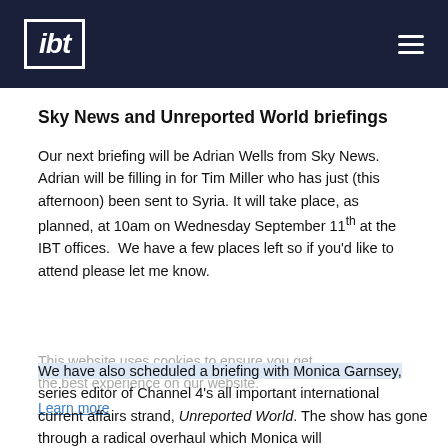ibt
Sky News and Unreported World briefings
Our next briefing will be Adrian Wells from Sky News. Adrian will be filling in for Tim Miller who has just (this afternoon) been sent to Syria. It will take place, as planned, at 10am on Wednesday September 11th at the IBT offices.  We have a few places left so if you'd like to attend please let me know.
This website uses cookies to ensure you get the best experience on our website.
Learn more
We have also scheduled a briefing with Monica Garnsey, series editor of Channel 4's all important international current affairs strand, Unreported World. The show has gone through a radical overhaul which Monica will